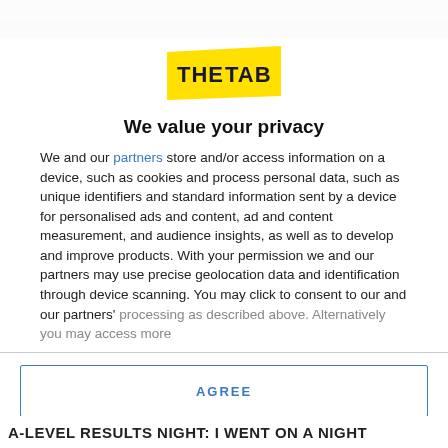[Figure (logo): The Tab logo — yellow rectangle with bold dark text 'THE TAB']
We value your privacy
We and our partners store and/or access information on a device, such as cookies and process personal data, such as unique identifiers and standard information sent by a device for personalised ads and content, ad and content measurement, and audience insights, as well as to develop and improve products. With your permission we and our partners may use precise geolocation data and identification through device scanning. You may click to consent to our and our partners' processing as described above. Alternatively you may access more
AGREE
MORE OPTIONS
A-LEVEL RESULTS NIGHT: I WENT ON A NIGHT